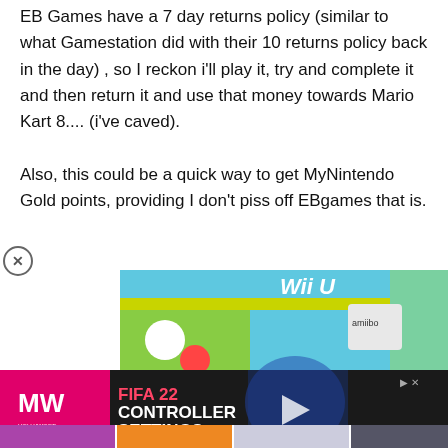EB Games have a 7 day returns policy (similar to what Gamestation did with their 10 returns policy back in the day) , so I reckon i'll play it, try and complete it and then return it and use that money towards Mario Kart 8.... (i've caved).

Also, this could be a quick way to get MyNintendo Gold points, providing I don't piss off EBgames that is.
[Figure (screenshot): Wii U Animal Crossing amiibo Festival game box overlaid with a FIFA 22 Best Controller Settings advertisement banner from MW (Hollywood) with thumbnail images of mobile games and GTA below it.]